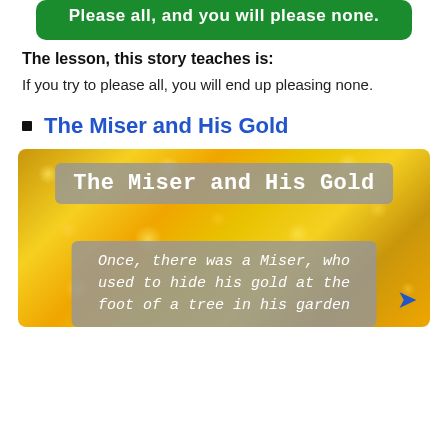Please all, and you will please none.
The lesson, this story teaches is:
If you try to please all, you will end up pleasing none.
The Miser and His Gold
[Figure (photo): Image showing golden coins background with title overlay 'The Miser and His Gold' and text overlay 'Once, there was a Miser, who used to hide his gold at the foot of a tree in his garden']